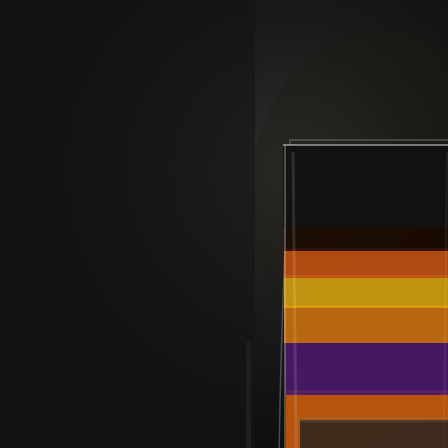[Figure (illustration): Dark-background cocktail menu page showing a rocks glass filled with layered cocktail in orange, yellow, and purple stripes. Bottom text reads 'COCKTAIL NO.6' and 'STANTON SOCIAL, THE LOWER E...' partially cut off. Left side has text labels 'Manhattan' and 'Spicy'.]
Manhattan
Spicy
COCKTAIL NO.6
STANTON SOCIAL, THE LOWER E